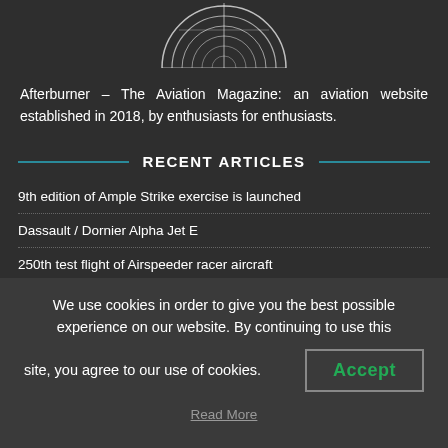[Figure (logo): Circular logo/emblem with concentric rings and crosshair lines, white on dark background, partially cropped at top]
Afterburner – The Aviation Magazine: an aviation website established in 2018, by enthusiasts for enthusiasts.
RECENT ARTICLES
9th edition of Ample Strike exercise is launched
Dassault / Dornier Alpha Jet E
250th test flight of Airspeeder racer aircraft
Slovakia says farewell to MiG-29
We use cookies in order to give you the best possible experience on our website. By continuing to use this site, you agree to our use of cookies.
Accept
Read More